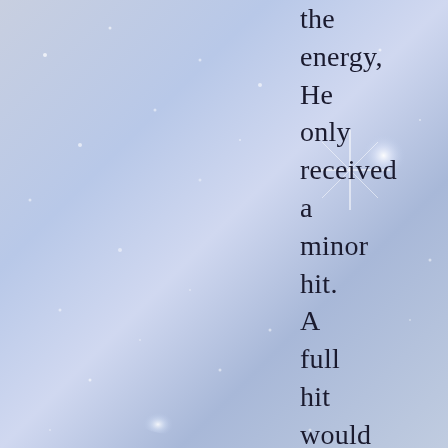the energy, He only received a minor hit. A full hit would have killed him. Mr. G has been seduced by a